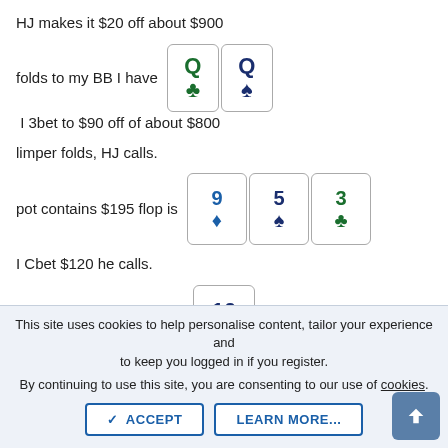HJ makes it $20 off about $900
folds to my BB I have Q♣ Q♠ I 3bet to $90 off of about $800
limper folds, HJ calls.
pot contains $195 flop is 9♦ 5♠ 3♣
I Cbet $120 he calls.
[Figure (illustration): Playing card showing 10 with spade suit (turn card)]
This site uses cookies to help personalise content, tailor your experience and to keep you logged in if you register. By continuing to use this site, you are consenting to our use of cookies.